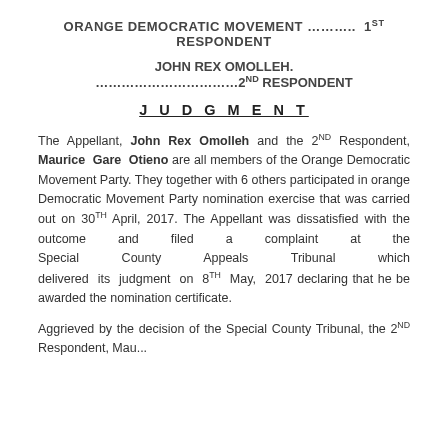ORANGE DEMOCRATIC MOVEMENT ……….. 1ST RESPONDENT
JOHN REX OMOLLEH. ………………………..2ND RESPONDENT
J U D G M E N T
The Appellant, John Rex Omolleh and the 2nd Respondent, Maurice Gare Otieno are all members of the Orange Democratic Movement Party. They together with 6 others participated in orange Democratic Movement Party nomination exercise that was carried out on 30th April, 2017. The Appellant was dissatisfied with the outcome and filed a complaint at the Special County Appeals Tribunal which delivered its judgment on 8th May, 2017 declaring that he be awarded the nomination certificate.
Aggrieved by the decision of the Special County Tribunal, the 2nd Respondent, Maurice...